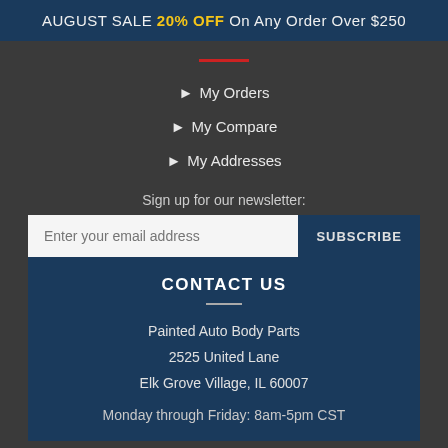AUGUST SALE 20% OFF On Any Order Over $250
My Orders
My Compare
My Addresses
Sign up for our newsletter:
CONTACT US
Painted Auto Body Parts
2525 United Lane
Elk Grove Village, IL 60007
Monday through Friday: 8am-5pm CST